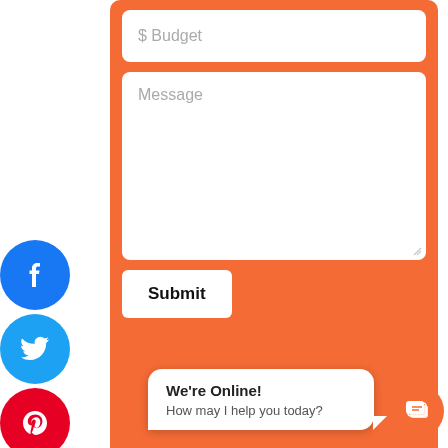[Figure (screenshot): Web contact form with orange background containing a Budget input field, a Message textarea, and a Submit button. Left sidebar shows social media icons (Facebook, Twitter, Pinterest, Instagram, LinkedIn, YouTube). Bottom section shows a dark background with a chat widget saying 'We're Online! How may I help you today?' and an orange chat button. A gray scroll-to-top arrow is visible on the right.]
$ Budget
Message
Submit
We're Online!
How may I help you today?